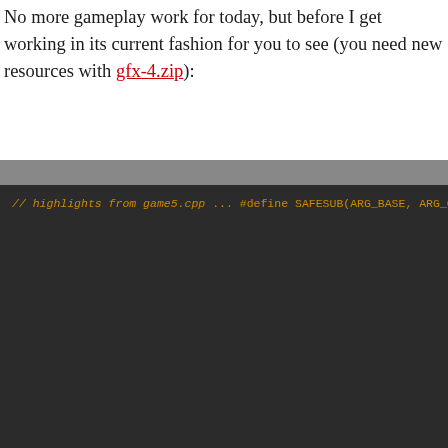No more gameplay work for today, but before I get working in its current fashion for you to see (you need new resources with gfx-4.zip):
[Figure (screenshot): Dark-themed code editor screenshot showing C++ preprocessor defines from game5.cpp, including SAFESUB, SAFEADD, MAX, MIN macros, and game constants like ROCK_CRASH_ENERGY_LOSS, MINE_CRASH_ENERGY_LOSS, MAX_ENERGY, MAX_FUEL, ROCKET_SPEED, MIN_TIME_BETWEEN_ROCKETS, MIN_FUEL_FOR_HEAL, MAX_FUEL]